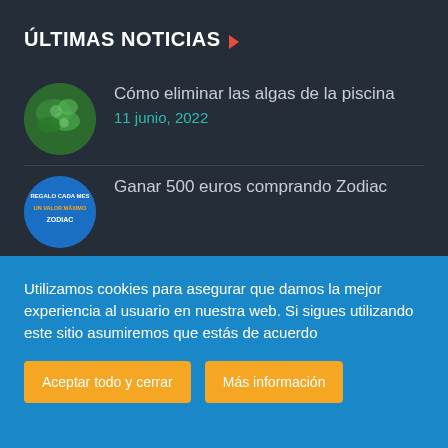ÚLTIMAS NOTICIAS
[Figure (photo): Circular thumbnail of green algae in a pool]
Cómo eliminar las algas de la piscina
11 junio, 2022
[Figure (photo): Circular thumbnail of Zodiac promotion badge with text REGALO CADA MES UN VALOR MAXIMO]
Ganar 500 euros comprando Zodiac
Utilizamos cookies para asegurar que damos la mejor experiencia al usuario en nuestra web. Si sigues utilizando este sitio asumiremos que estás de acuerdo
Aceptar todo y cerrar
Más información